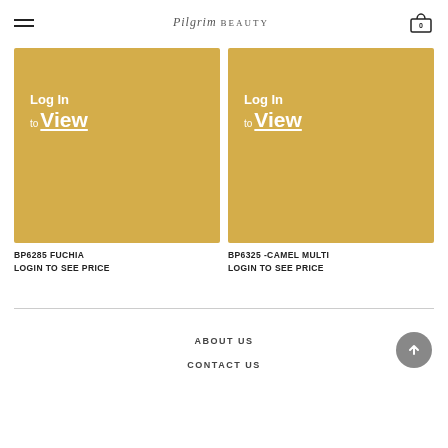Pilgrim Beauty (logo) | Cart: 0
[Figure (other): Product image placeholder with gold/yellow background showing 'Log In to View' text for BP6285 FUCHIA]
BP6285 FUCHIA
LOGIN TO SEE PRICE
[Figure (other): Product image placeholder with gold/yellow background showing 'Log In to View' text for BP6325 -CAMEL MULTI]
BP6325 -CAMEL MULTI
LOGIN TO SEE PRICE
ABOUT US
CONTACT US